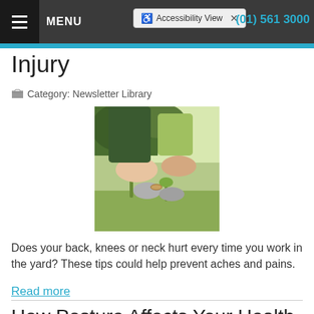MENU   Accessibility View   (01) 561 3000
Injury
Category: Newsletter Library
[Figure (photo): Person gardening, hands in soil with plants and gloves visible]
Does your back, knees or neck hurt every time you work in the yard? These tips could help prevent aches and pains.
Read more
How Posture Affects Your Health